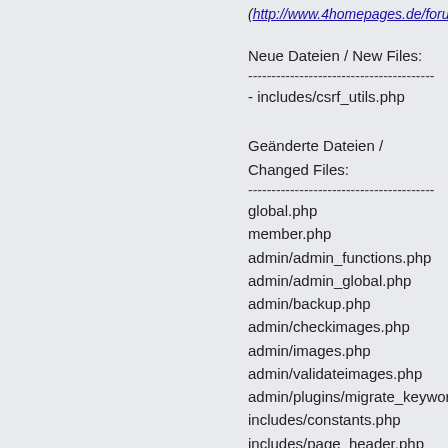(http://www.4homepages.de/forum/index.p
Neue Dateien / New Files:
----------------------------------------
- includes/csrf_utils.php
Geänderte Dateien / Changed Files:
----------------------------------------
global.php
member.php
admin/admin_functions.php
admin/admin_global.php
admin/backup.php
admin/checkimages.php
admin/images.php
admin/validateimages.php
admin/plugins/migrate_keywords.php
includes/constants.php
includes/page_header.php
includes/search_utils.php
includes/sessions.php
Sprache / Language: